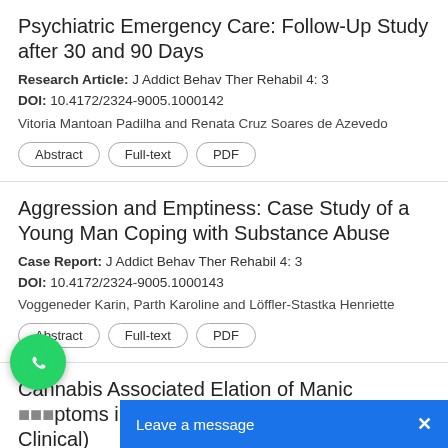Psychiatric Emergency Care: Follow-Up Study after 30 and 90 Days
Research Article: J Addict Behav Ther Rehabil 4: 3
DOI: 10.4172/2324-9005.1000142
Vitoria Mantoan Padilha and Renata Cruz Soares de Azevedo
Aggression and Emptiness: Case Study of a Young Man Coping with Substance Abuse
Case Report: J Addict Behav Ther Rehabil 4: 3
DOI: 10.4172/2324-9005.1000143
Voggeneder Karin, Parth Karoline and Löffler-Stastka Henriette
Cannabis Associated Elation of Manic Symptoms in a University Cohort (Non- Clinical)
Research Article: J Addict Behav Ther Rehabil 4: 3
DOI: 10.4172/2324-9005.1000144
Muhammad T Khalily, Matthias Sc... Hollohan